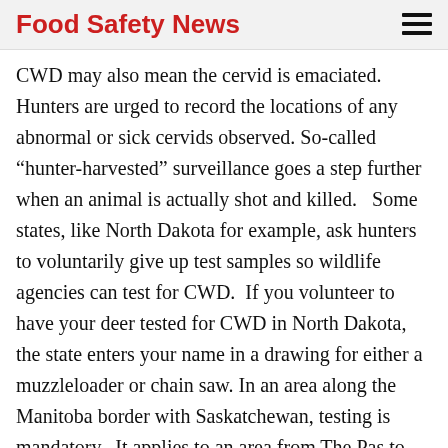Food Safety News
CWD may also mean the cervid is emaciated. Hunters are urged to record the locations of any abnormal or sick cervids observed. So-called “hunter-harvested” surveillance goes a step further when an animal is actually shot and killed.   Some states, like North Dakota for example, ask hunters to voluntarily give up test samples so wildlife agencies can test for CWD.  If you volunteer to have your deer tested for CWD in North Dakota, the state enters your name in a drawing for either a muzzleloader or chain saw. In an area along the Manitoba border with Saskatchewan, testing is mandatory.  It applies to an area from The Pas to Swan River and the Manitoba Conservation Department has set up a collection depot for hunters